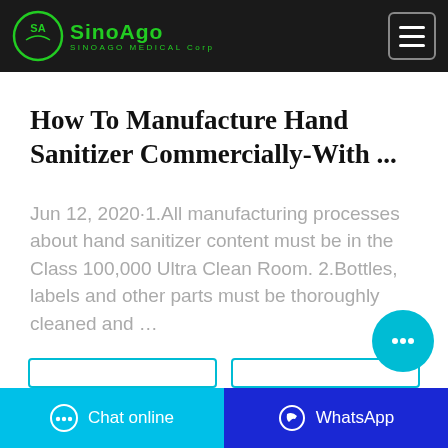SinoAgo Medical Corp
How To Manufacture Hand Sanitizer Commercially-With ...
Jun 12, 2020·1.All manufacturing processes about hand sanitizer content must be in the Class 100,000 Ultra Clean Room. 2.Bottles, labels and other parts must be thoroughly cleaned and …
Chat online | WhatsApp